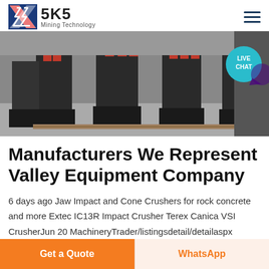SKS Mining Technology
[Figure (photo): Industrial mining cone crushers with red and black components on a factory floor, with a LIVE CHAT button overlay in the top right]
Manufacturers We Represent Valley Equipment Company
6 days ago Jaw Impact and Cone Crushers for rock concrete and more Extec IC13R Impact Crusher Terex Canica VSI CrusherJun 20 MachineryTrader/listingsdetail/detailaspx OHID= lp=MAT
Get a Quote | WhatsApp